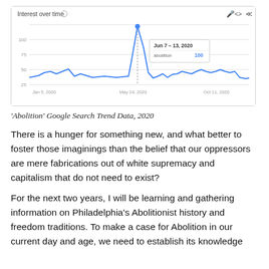[Figure (line-chart): Google Trends line chart showing search interest for 'abolition' over time in 2020, with a tooltip showing Jun 7–13, 2020: abolition 100. The line spikes sharply around Jun 7–13, 2020.]
'Abolition' Google Search Trend Data, 2020
There is a hunger for something new, and what better to foster those imaginings than the belief that our oppressors are mere fabrications out of white supremacy and capitalism that do not need to exist?
For the next two years, I will be learning and gathering information on Philadelphia's Abolitionist history and freedom traditions. To make a case for Abolition in our current day and age, we need to establish its knowledge